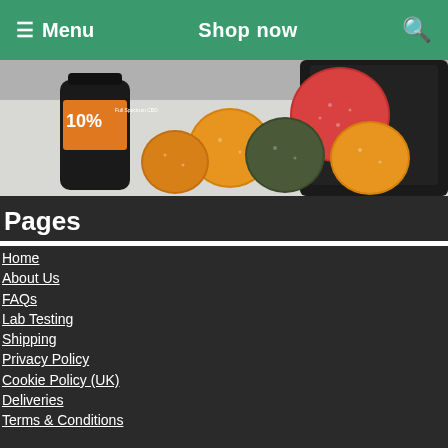Menu  Shop now  🔍
[Figure (photo): CBD product photo showing a dark bottle labeled '10% Full Spectrum CBD' alongside colorful sugar-coated gummy candies (red, orange, green) on a light background with a black packaging bag.]
Pages
Home
About Us
FAQs
Lab Testing
Shipping
Privacy Policy
Cookie Policy (UK)
Deliveries
Terms & Conditions